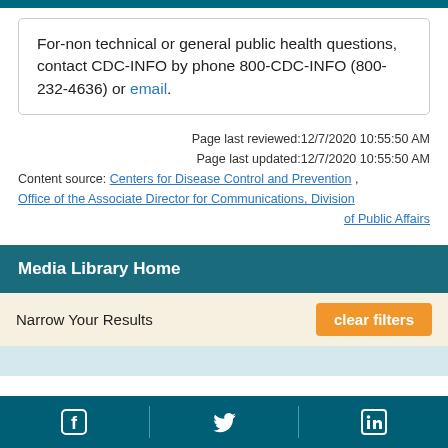For-non technical or general public health questions, contact CDC-INFO by phone 800-CDC-INFO (800-232-4636) or email.
Page last reviewed:12/7/2020 10:55:50 AM
Page last updated:12/7/2020 10:55:50 AM
Content source: Centers for Disease Control and Prevention , Office of the Associate Director for Communications, Division of Public Affairs
Media Library Home
Narrow Your Results
clear filters
TOPIC
choose a topic
Facebook | Twitter | LinkedIn